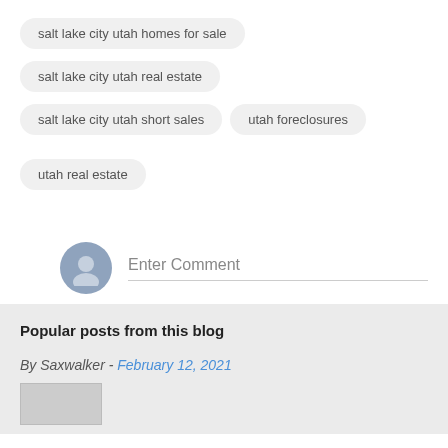salt lake city utah homes for sale
salt lake city utah real estate
salt lake city utah short sales
utah foreclosures
utah real estate
Enter Comment
Popular posts from this blog
By Saxwalker - February 12, 2021